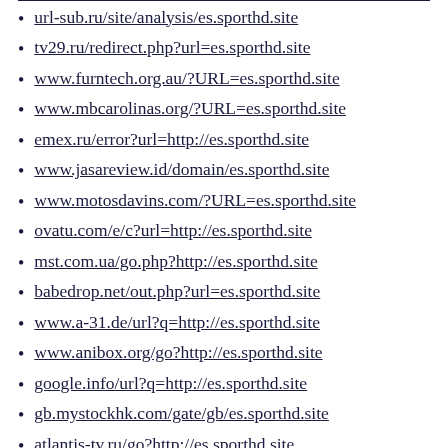url-sub.ru/site/analysis/es.sporthd.site
tv29.ru/redirect.php?url=es.sporthd.site
www.furntech.org.au/?URL=es.sporthd.site
www.mbcarolinas.org/?URL=es.sporthd.site
emex.ru/error?url=http://es.sporthd.site
www.jasareview.id/domain/es.sporthd.site
www.motosdavins.com/?URL=es.sporthd.site
ovatu.com/e/c?url=http://es.sporthd.site
mst.com.ua/go.php?http://es.sporthd.site
babedrop.net/out.php?url=es.sporthd.site
www.a-31.de/url?q=http://es.sporthd.site
www.anibox.org/go?http://es.sporthd.site
google.info/url?q=http://es.sporthd.site
gb.mystockhk.com/gate/gb/es.sporthd.site
atlantis-tv.ru/go?http://es.sporthd.site
otziv.ucoz.com/go?http://es.sporthd.site
www.wcs.moy.su/go?http://es.sporthd.site
www.sgvavia.ru/go?http://es.sporthd.site
sport-kids.ru/go.php?url=es.sporthd.site (partial)